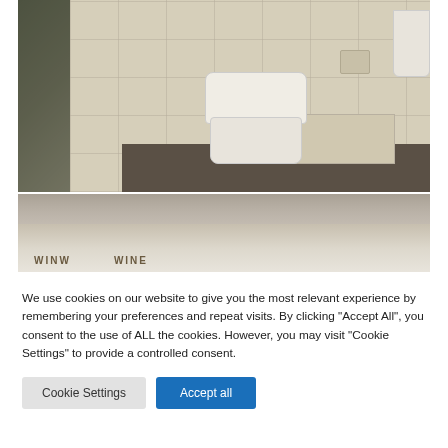[Figure (photo): Bathroom photo showing a wall-mounted toilet with white lid, light beige tile walls, dark wood floor, bathtub on the right, glass shower panel on the left, and a sink partially visible on the right edge.]
[Figure (photo): Partial bathroom photo showing the top edge of a bathtub or shelf with light gray/beige background, partially cut off by a cookie consent overlay.]
We use cookies on our website to give you the most relevant experience by remembering your preferences and repeat visits. By clicking “Accept All”, you consent to the use of ALL the cookies. However, you may visit "Cookie Settings" to provide a controlled consent.
Cookie Settings
Accept all